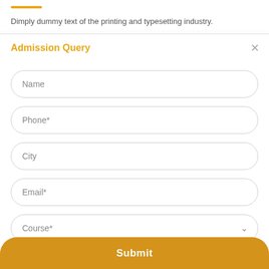Dimply dummy text of the printing and typesetting industry.
Admission Query
Name
Phone*
City
Email*
Course*
Submit